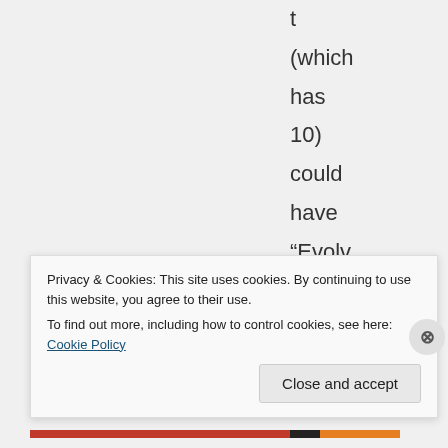t (which has 10) could have “Evolved” 1st 2nd 3rd 4th 5th
Privacy & Cookies: This site uses cookies. By continuing to use this website, you agree to their use.
To find out more, including how to control cookies, see here: Cookie Policy
Close and accept